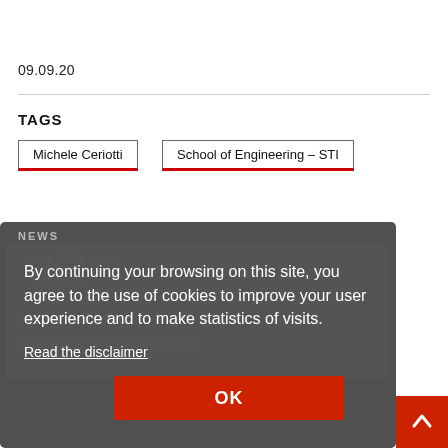09.09.20
TAGS
Michele Ceriotti
School of Engineering – STI
NEWS
All EPFL news
All news
SUBSCRIPTION
Receive an email for each new article
By continuing your browsing on this site, you agree to the use of cookies to improve your user experience and to make statistics of visits.
Read the disclaimer
OK